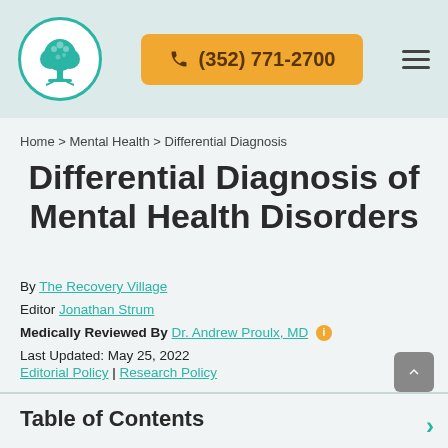[Figure (logo): The Recovery Village logo — teal circle with white tree illustration]
(352) 771-2700
Home > Mental Health > Differential Diagnosis
Differential Diagnosis of Mental Health Disorders
By The Recovery Village
Editor Jonathan Strum
Medically Reviewed By Dr. Andrew Proulx, MD
Last Updated: May 25, 2022
Editorial Policy | Research Policy
Table of Contents